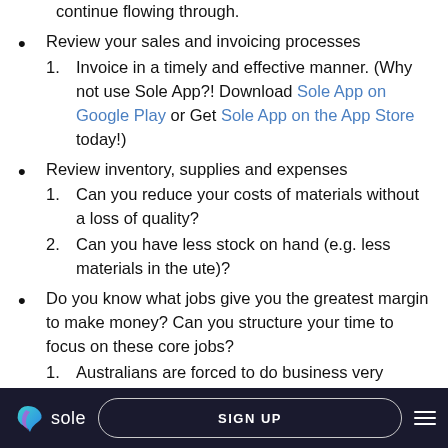continue flowing through.
Review your sales and invoicing processes
1. Invoice in a timely and effective manner. (Why not use Sole App?! Download Sole App on Google Play or Get Sole App on the App Store today!)
Review inventory, supplies and expenses
1. Can you reduce your costs of materials without a loss of quality?
2. Can you have less stock on hand (e.g. less materials in the ute)?
Do you know what jobs give you the greatest margin to make money? Can you structure your time to focus on these core jobs?
1. Australians are forced to do business very
sole   SIGN UP